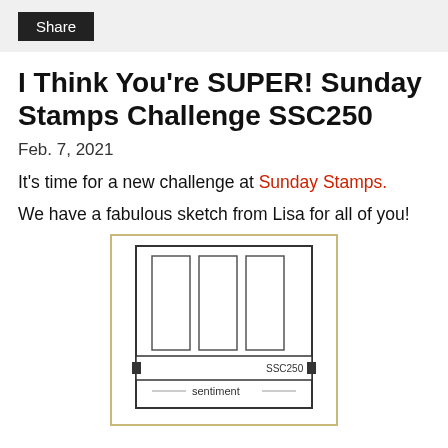Share
I Think You're SUPER! Sunday Stamps Challenge SSC250
Feb. 7, 2021
It's time for a new challenge at Sunday Stamps.
We have a fabulous sketch from Lisa for all of you!
[Figure (schematic): A card sketch diagram showing three vertical rectangles side by side inside a larger rectangle, with a label bar showing SSC250 and a sentiment line below them, all inside a tan/gold-bordered outer frame.]